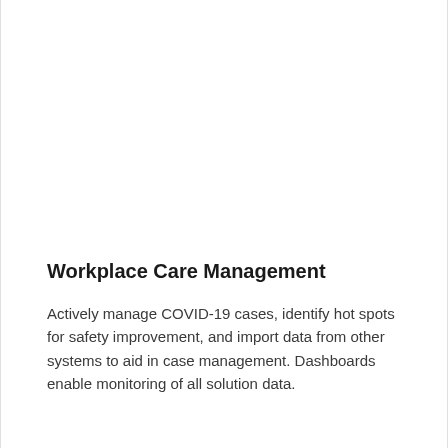Workplace Care Management
Actively manage COVID-19 cases, identify hot spots for safety improvement, and import data from other systems to aid in case management. Dashboards enable monitoring of all solution data.